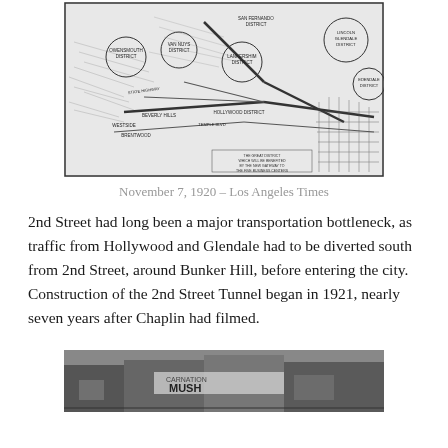[Figure (map): Historical map from Los Angeles Times showing transportation districts including San Fernando District, Owensmouth District, Van Nuys District, Lankershim District, Burbank, Lincoln-Glendale District, Edendale District, Beverly Hills, Hollywood District, Temple Blvd, Brentwood, Westside, and a note about the great district that will be benefited by the new gateway to the five business centers.]
November 7, 1920 – Los Angeles Times
2nd Street had long been a major transportation bottleneck, as traffic from Hollywood and Glendale had to be diverted south from 2nd Street, around Bunker Hill, before entering the city. Construction of the 2nd Street Tunnel began in 1921, nearly seven years after Chaplin had filmed.
[Figure (photo): Black and white photograph of a street scene showing a storefront with 'CARNATION MUSH' visible on signage.]